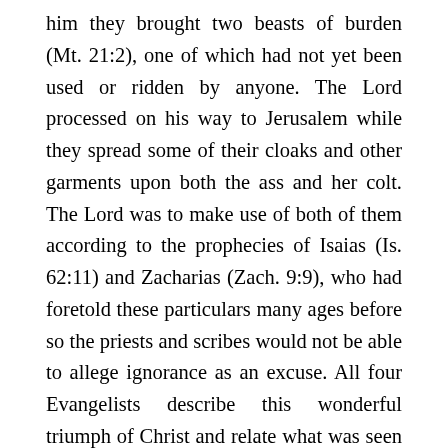him they brought two beasts of burden (Mt. 21:2), one of which had not yet been used or ridden by anyone. The Lord processed on his way to Jerusalem while they spread some of their cloaks and other garments upon both the ass and her colt. The Lord was to make use of both of them according to the prophecies of Isaias (Is. 62:11) and Zacharias (Zach. 9:9), who had foretold these particulars many ages before so the priests and scribes would not be able to allege ignorance as an excuse. All four Evangelists describe this wonderful triumph of Christ and relate what was seen by the bodily eyes of those present (Mt. 21:4ff.; Mk. 11:1ff.; Lk. 19:30ff.; Jn. 12:12ff.). As they proceeded on their way the disciples, and with them all the people, the children and the adults, hailed Jesus as the true Messiah, the Son of David, the Savior of the world, and as their true King.